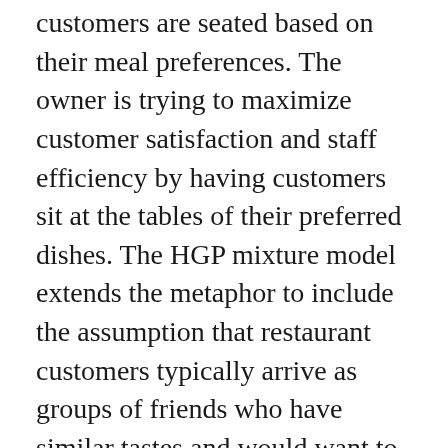customers are seated based on their meal preferences. The owner is trying to maximize customer satisfaction and staff efficiency by having customers sit at the tables of their preferred dishes. The HGP mixture model extends the metaphor to include the assumption that restaurant customers typically arrive as groups of friends who have similar tastes and would want to sit at the same table. The model uses mathematical computations in an attempt to identify those hidden groups of friends from a stream of customers by relying on the stimulus order—that is, the order in which the customers enter the restaurant. The ability of future customers